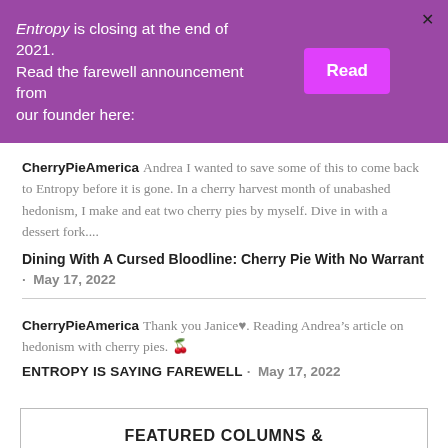Entropy is closing at the end of 2021. Read the farewell announcement from our founder here:
CherryPieAmerica Andrea I wanted to save some of this to come back to Entropy before it is gone. In a cherry harvest month of unabashed hedonism, I make and eat two cherry pies by myself. Dive in with a dessert fork....
Dining With A Cursed Bloodline: Cherry Pie With No Warrant · May 17, 2022
CherryPieAmerica Thank you Janice♥. Reading Andrea's article on hedonism with cherry pies. 🍒
ENTROPY IS SAYING FAREWELL · May 17, 2022
FEATURED COLUMNS & SERIES